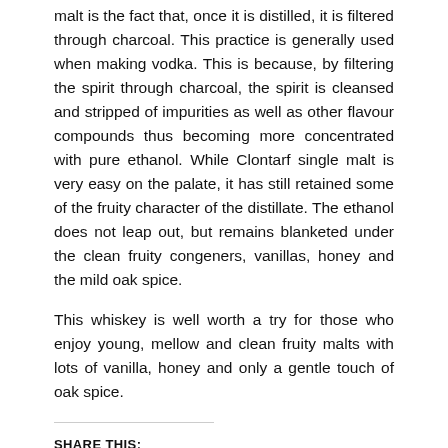malt is the fact that, once it is distilled, it is filtered through charcoal. This practice is generally used when making vodka. This is because, by filtering the spirit through charcoal, the spirit is cleansed and stripped of impurities as well as other flavour compounds thus becoming more concentrated with pure ethanol. While Clontarf single malt is very easy on the palate, it has still retained some of the fruity character of the distillate. The ethanol does not leap out, but remains blanketed under the clean fruity congeners, vanillas, honey and the mild oak spice.
This whiskey is well worth a try for those who enjoy young, mellow and clean fruity malts with lots of vanilla, honey and only a gentle touch of oak spice.
SHARE THIS: